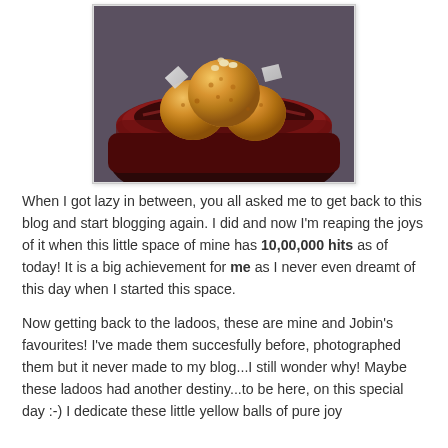[Figure (photo): A dark red ceramic bowl containing golden-orange ladoo (Indian sweet balls) with silver foil pieces, photographed on a grey surface]
When I got lazy in between, you all asked me to get back to this blog and start blogging again. I did and now I'm reaping the joys of it when this little space of mine has 10,00,000 hits as of today! It is a big achievement for me as I never even dreamt of this day when I started this space.
Now getting back to the ladoos, these are mine and Jobin's favourites! I've made them succesfully before, photographed them but it never made to my blog...I still wonder why! Maybe these ladoos had another destiny...to be here, on this special day :-) I dedicate these little yellow balls of pure joy